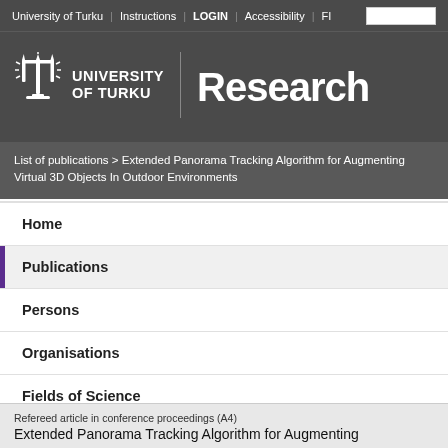University of Turku | Instructions | LOGIN | Accessibility | FI
[Figure (logo): University of Turku logo with trident symbol and wordmark UNIVERSITY OF TURKU, followed by vertical divider and bold text 'Research']
List of publications > Extended Panorama Tracking Algorithm for Augmenting Virtual 3D Objects In Outdoor Environments
Home
Publications
Persons
Organisations
Fields of Science
Refereed article in conference proceedings (A4)
Extended Panorama Tracking Algorithm for Augmenting